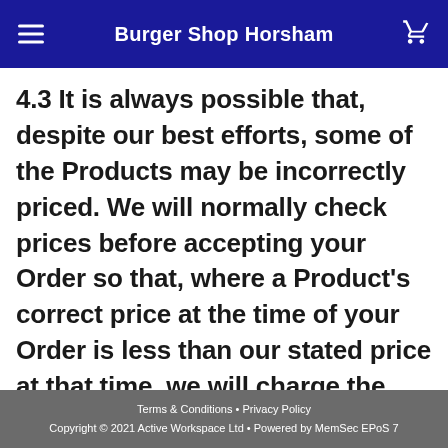Burger Shop Horsham
4.3 It is always possible that, despite our best efforts, some of the Products may be incorrectly priced. We will normally check prices before accepting your Order so that, where a Product's correct price at the time of your Order is less than our stated price at that time, we will charge the lower amount. If the Product's correct price at the time of
Terms & Conditions • Privacy Policy
Copyright © 2021 Active Workspace Ltd • Powered by MemSec EPoS 7